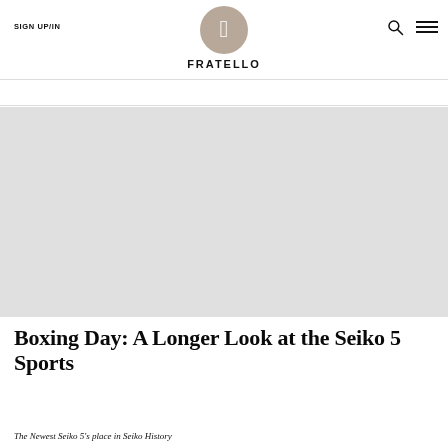SIGN UP/IN  FRATELLO  SHOP
AUGUST 22, 2022
[Figure (photo): Large hero image placeholder — light grey rectangle representing the main article photo]
Boxing Day: A Longer Look at the Seiko 5 Sports
The Newest Seiko 5's place in Seiko History